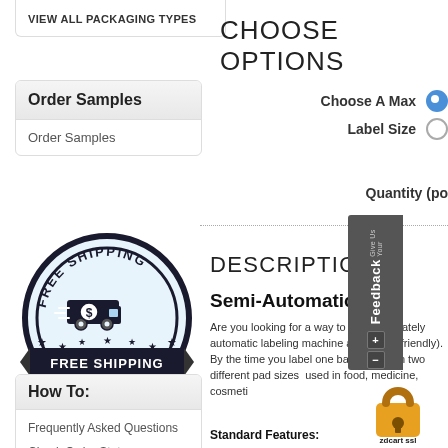VIEW ALL PACKAGING TYPES
Order Samples
Order Samples
[Figure (illustration): Free Shipping badge/seal with a delivery truck icon in the center, text FREE SHIPPING around the top, and FREE SHIPPING on a black ribbon banner at the bottom, with stars around the bottom of the circular badge.]
How To:
Frequently Asked Questions
Check Order Status
CHOOSE OPTIONS
Choose A Max Label Size
Quantity (po
DESCRIPTION
Semi-Automatic Lab
Are you looking for a way to label accurately automatic labeling machine allows  to label friendly). By the time you label one bag machine in two different pad sizes used in food, medicine, cosmeti
Standard Features: